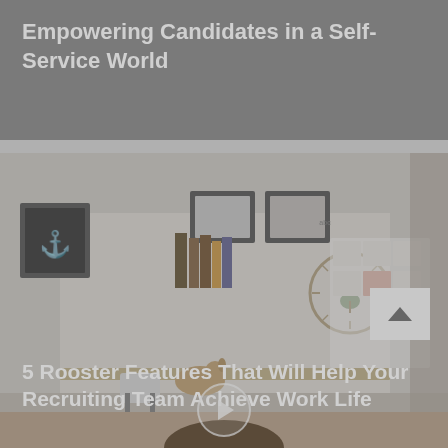Empowering Candidates in a Self-Service World
[Figure (photo): Photo of a modern home office with bookshelves, framed art on walls, decorative items, and a desk with a chair. Semi-transparent dark overlay with category tags and a play button circle overlaid.]
Company Culture, Human Resources Management, Recruitment Made Easy
5 Rooster Features That Will Help Your Recruiting Team Achieve Work Life Balance
[Figure (photo): Partial photo at the bottom showing the top of a person's head with dark curly hair, tan/brown tones.]